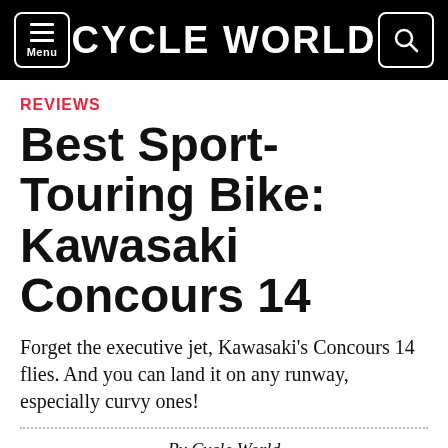CYCLE WORLD
REVIEWS
Best Sport-Touring Bike: Kawasaki Concours 14
Forget the executive jet, Kawasaki's Concours 14 flies. And you can land it on any runway, especially curvy ones!
By Cycle World
July 15, 2010